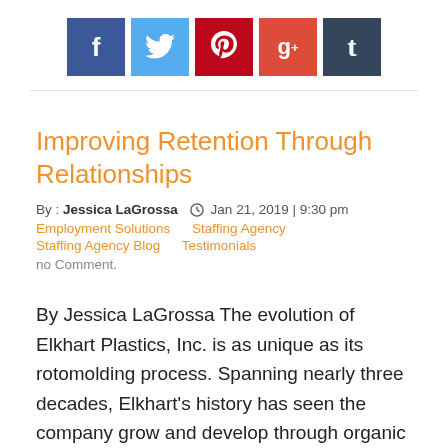[Figure (infographic): Social media sharing icons row: Facebook (blue), Twitter (light blue), Pinterest (red), Google+ (red-orange), Tumblr (dark blue)]
Improving Retention Through Relationships
By : Jessica LaGrossa  Jan 21, 2019 | 9:30 pm
Employment Solutions    Staffing Agency    Staffing Agency Blog    Testimonials
no Comment.
By Jessica LaGrossa The evolution of Elkhart Plastics, Inc. is as unique as its rotomolding process. Spanning nearly three decades, Elkhart's history has seen the company grow and develop through organic growth